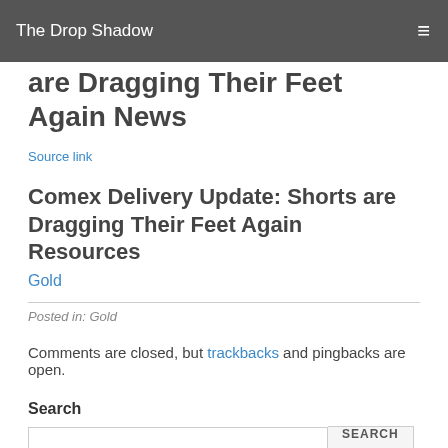The Drop Shadow
Comex Delivery Update: Shorts are Dragging Their Feet Again News
Source link
Comex Delivery Update: Shorts are Dragging Their Feet Again Resources
Gold
Posted in: Gold
Comments are closed, but trackbacks and pingbacks are open.
Search